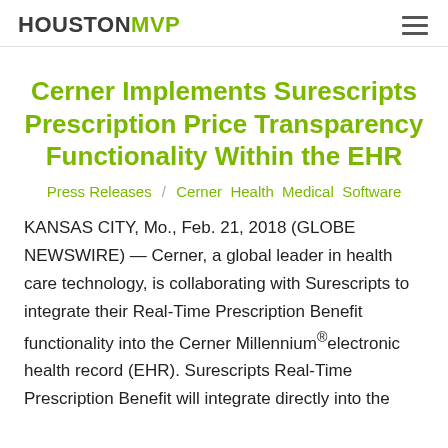HOUSTONMVP
Cerner Implements Surescripts Prescription Price Transparency Functionality Within the EHR
Press Releases / Cerner Health Medical Software
KANSAS CITY, Mo., Feb. 21, 2018 (GLOBE NEWSWIRE) — Cerner, a global leader in health care technology, is collaborating with Surescripts to integrate their Real-Time Prescription Benefit functionality into the Cerner Millennium®electronic health record (EHR). Surescripts Real-Time Prescription Benefit will integrate directly into the